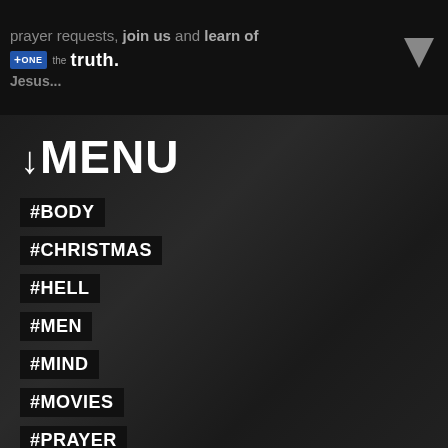prayer requests, join us and learn of the truth. Jesus... [THE ONE logo]
↓MENU
#BODY
#CHRISTMAS
#HELL
#MEN
#MIND
#MOVIES
#PRAYER
#RANDOM
#SEXUALITY
#SOUL
#WOE